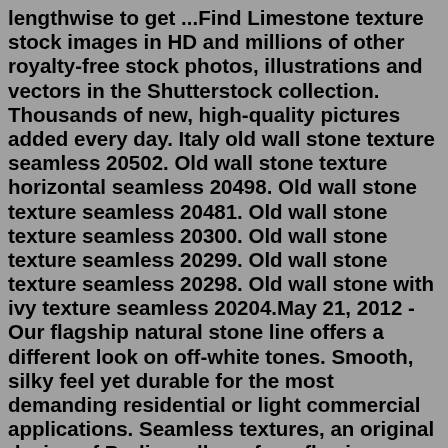lengthwise to get ...Find Limestone texture stock images in HD and millions of other royalty-free stock photos, illustrations and vectors in the Shutterstock collection. Thousands of new, high-quality pictures added every day. Italy old wall stone texture seamless 20502. Old wall stone texture horizontal seamless 20498. Old wall stone texture seamless 20481. Old wall stone texture seamless 20300. Old wall stone texture seamless 20299. Old wall stone texture seamless 20298. Old wall stone with ivy texture seamless 20204.May 21, 2012 - Our flagship natural stone line offers a different look on off-white tones. Smooth, silky feel yet durable for the most demanding residential or light commercial applications. Seamless textures, an original design of Proline, allows for a flowing pattern free of grout lines for easy care. Add any of our Border Art stamps and Band Tools, for a truly unique design. As with all our Seamless Textures mats, we offer Limestone in a variety of 6 different sizes and density. See: 4LS, 3LS, 24LS, 2LS. 2LSE Recon currently offers five face texture options